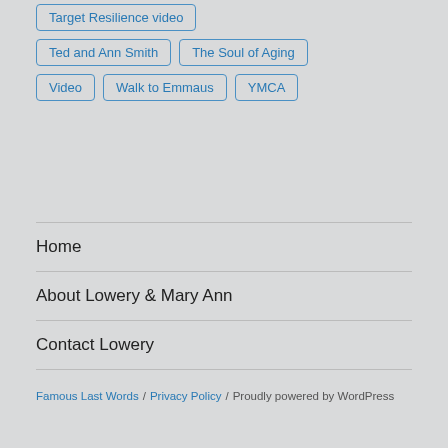Target Resilience video
Ted and Ann Smith
The Soul of Aging
Video
Walk to Emmaus
YMCA
Home
About Lowery & Mary Ann
Contact Lowery
Famous Last Words / Privacy Policy / Proudly powered by WordPress